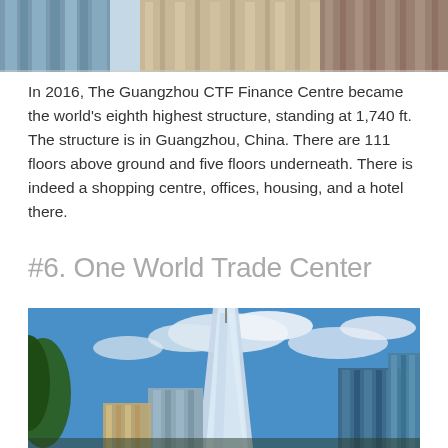[Figure (photo): Top portion of photo showing tall glass skyscrapers from a low angle against a partly cloudy sky]
In 2016, The Guangzhou CTF Finance Centre became the world's eighth highest structure, standing at 1,740 ft. The structure is in Guangzhou, China. There are 111 floors above ground and five floors underneath. There is indeed a shopping centre, offices, housing, and a hotel there.
#6. One World Trade Center
[Figure (photo): Upward-angle photo of One World Trade Center and surrounding skyscrapers against a bright blue sky with white clouds, with tree foliage visible on the left side]